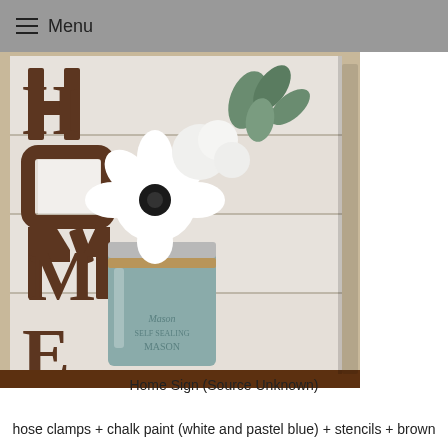Menu
[Figure (photo): A rustic wooden sign spelling HOME where the O is replaced by a mason jar with white flowers and greenery arranged inside. The letters H, M, and E are stenciled in dark brown on a whitewashed wood plank background. The mason jar is painted in a pastel blue/dusty teal color and is wrapped with twine. White hydrangeas and an anemone flower with eucalyptus leaves are arranged in the jar. The sign sits on what appears to be a dark wood surface against a beige wall.]
Home Sign (Source Unknown)
hose clamps + chalk paint (white and pastel blue) + stencils + brown